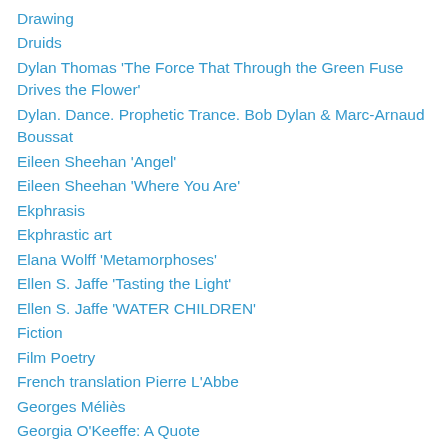Drawing
Druids
Dylan Thomas 'The Force That Through the Green Fuse Drives the Flower'
Dylan. Dance. Prophetic Trance. Bob Dylan & Marc-Arnaud Boussat
Eileen Sheehan 'Angel'
Eileen Sheehan 'Where You Are'
Ekphrasis
Ekphrastic art
Elana Wolff 'Metamorphoses'
Ellen S. Jaffe 'Tasting the Light'
Ellen S. Jaffe 'WATER CHILDREN'
Fiction
Film Poetry
French translation Pierre L'Abbe
Georges Méliès
Georgia O'Keeffe: A Quote
GIF
GIF Experiments: 31 (Crack in the narrative)
GIF Experiments:1